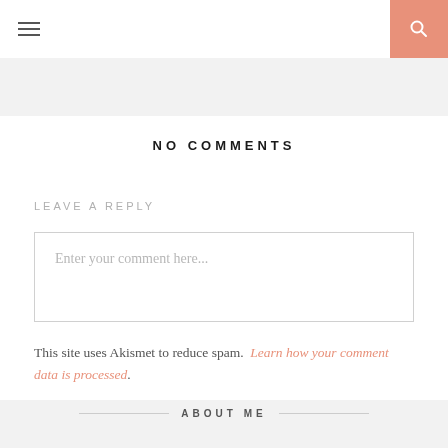≡  🔍
NO COMMENTS
LEAVE A REPLY
Enter your comment here...
This site uses Akismet to reduce spam. Learn how your comment data is processed.
ABOUT ME